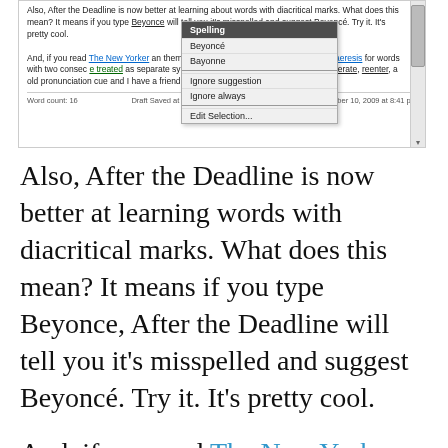[Figure (screenshot): Screenshot of a text editor showing a spelling suggestion popup menu for 'Beyonce' with options: Spelling header, Beyoncé, Bayonne, Ignore suggestion, Ignore always, Edit Selection... The editor text mentions After the Deadline, The New Yorker, diaeresis, cooperate, reenter, and Matt. Footer shows word count and draft saved info.]
Also, After the Deadline is now better at learning words with diacritical marks. What does this mean? It means if you type Beyonce, After the Deadline will tell you it's misspelled and suggest Beyoncé. Try it. It's pretty cool.
And, if you read The New Yorker and want to write like them: After the Deadline will now suggest a diaeresis for words with two consecutive vowels that are treated as separate syllables. This comes up for words like coöperate, reënter, and zoölogy. It's an old pronunciation cue and I have a friend named Matt who is bound to love